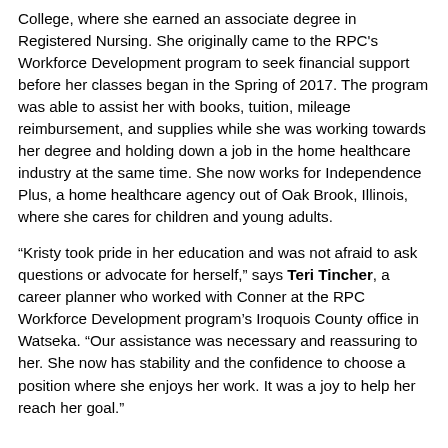College, where she earned an associate degree in Registered Nursing. She originally came to the RPC's Workforce Development program to seek financial support before her classes began in the Spring of 2017. The program was able to assist her with books, tuition, mileage reimbursement, and supplies while she was working towards her degree and holding down a job in the home healthcare industry at the same time. She now works for Independence Plus, a home healthcare agency out of Oak Brook, Illinois, where she cares for children and young adults.
“Kristy took pride in her education and was not afraid to ask questions or advocate for herself,” says Teri Tincher, a career planner who worked with Conner at the RPC Workforce Development program’s Iroquois County office in Watseka. “Our assistance was necessary and reassuring to her. She now has stability and the confidence to choose a position where she enjoys her work. It was a joy to help her reach her goal.”